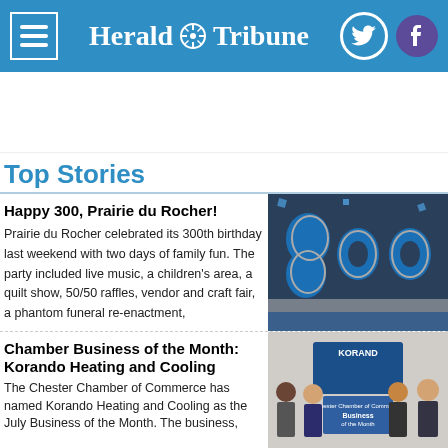Herald Tribune
[Figure (other): Advertisement banner space (white area)]
Top Stories
Happy 300, Prairie du Rocher!
Prairie du Rocher celebrated its 300th birthday last weekend with two days of family fun. The party included live music, a children's area, a quilt show, 50/50 raffles, vendor and craft fair, a phantom funeral re-enactment,
[Figure (photo): Photo of 300 balloon decorations in blue and silver]
Chamber Business of the Month: Korando Heating and Cooling
The Chester Chamber of Commerce has named Korando Heating and Cooling as the July Business of the Month. The business,
[Figure (photo): Photo of Korando Heating and Cooling staff with Business of the Month sign from Chester Chamber of Commerce]